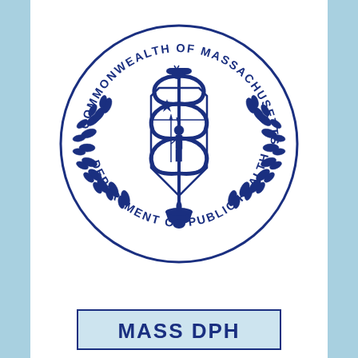[Figure (logo): Commonwealth of Massachusetts Department of Public Health official seal. Dark blue circular seal featuring a caduceus (staff with serpent) overlapping a shield with a Native American figure and star, surrounded by laurel wreath, with text 'COMMONWEALTH OF MASSACHUSETTS' along the top arc and 'DEPARTMENT OF PUBLIC HEALTH' along the bottom arc.]
MASS DPH